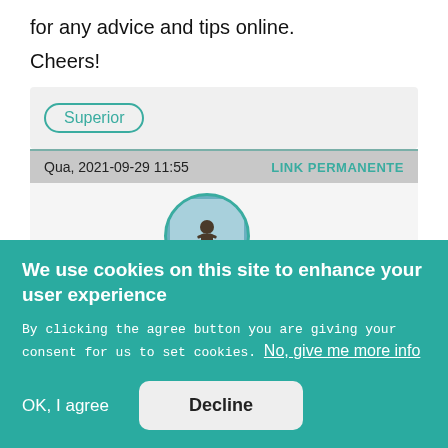for any advice and tips online.
Cheers!
Superior
Qua, 2021-09-29 11:55
LINK PERMANENTE
[Figure (photo): Circular avatar photo of a person outdoors with teal border]
Membro WS
We use cookies on this site to enhance your user experience
By clicking the agree button you are giving your consent for us to set cookies. No, give me more info
OK, I agree
Decline